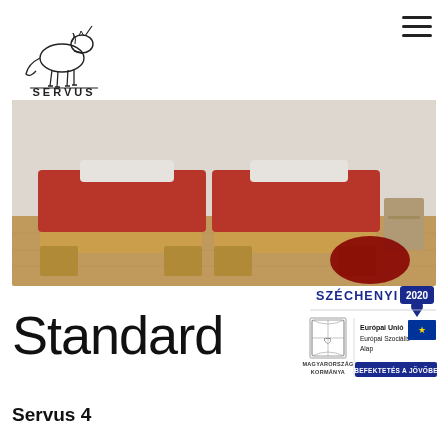[Figure (logo): Servus unicorn logo with text SERVUS beneath]
[Figure (photo): Hotel room with two single beds with red/orange covers on wooden frames, wooden floor, red circular rug]
Standard
Servus 4
[Figure (logo): Széchenyi 2020 badge with EU funding logos - Magyarország Kormánya, Európai Unió Európai Szociális Alap, Befektetés a Jövőbe]